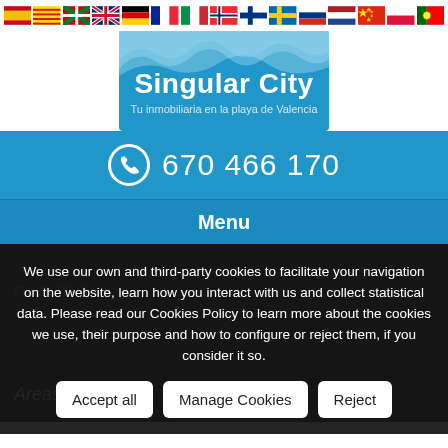[Figure (illustration): Row of country flag icons: Spain, Catalonia, Basque, UK, Germany, France, Italy, Norway, Finland, Sweden, Russia, Netherlands, China, Poland, Portugal]
[Figure (logo): Singular City logo with blue wave design and text 'Singular City - Tu inmobiliaria en la playa de Valencia']
670 466 170
Menu
We use our own and third-party cookies to facilitate your navigation on the website, learn how you interact with us and collect statistical data. Please read our Cookies Policy to learn more about the cookies we use, their purpose and how to configure or reject them, if you consider it so.
Accept all | Manage Cookies | Reject